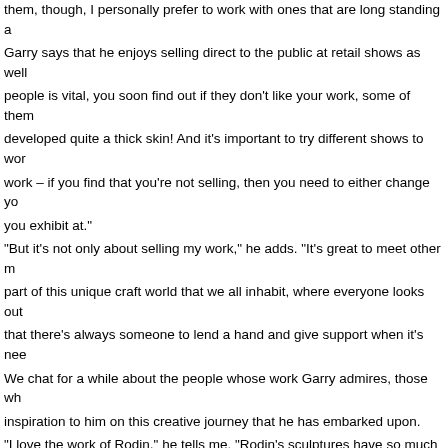them, though, I personally prefer to work with ones that are long standing a... Garry says that he enjoys selling direct to the public at retail shows as well... people is vital, you soon find out if they don't like your work, some of them... developed quite a thick skin! And it's important to try different shows to wor... work – if you find that you're not selling, then you need to either change yo... you exhibit at."
"But it's not only about selling my work," he adds. "It's great to meet other m... part of this unique craft world that we all inhabit, where everyone looks out... that there's always someone to lend a hand and give support when it's nee...
We chat for a while about the people whose work Garry admires, those wh... inspiration to him on this creative journey that he has embarked upon.
"I love the work of Rodin," he tells me. "Rodin's sculptures have so much li... are still, inanimate objects; his work is way beyond his time.
"For sheer scale of work I'd have to say Henry Moore as well. I never partic... really, but since doing what I'm doing, I have come to understand and appr... some of his sculptures out of massive pieces of polystyrene, which is quite... the exhibition trade.
"And coming into the present time, I love Christine Cummings' work, she w... inspired me at BCTF, everything about her stand there was just perfect, wi... incorporated into her display of ceramic animals."
Garry is based in the West Midlands, having grown up in Wales, and has re... decision – to move from his home-based studio into a new, much larger wo...
"At first I worked in the garage at home and later obtained planning permiss... designed shed in the garden to work in," he says. "Then, earlier this year...